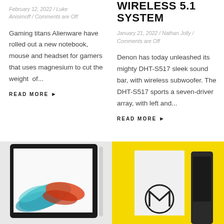February 12, 2022 / Luke Anisimoff / Comments are Off
Gaming titans Alienware have rolled out a new notebook, mouse and headset for gamers that uses magnesium to cut the weight of...
READ MORE ▶
WIRELESS 5.1 SYSTEM
January 21, 2022 / Nathan Jolly / Comments are Off
Denon has today unleashed its mighty DHT-S517 sleek sound bar, with wireless subwoofer. The DHT-S517 sports a seven-driver array, with left and...
READ MORE ▶
[Figure (photo): Tablet device with colorful abstract brushstroke artwork on screen, shown with stylus]
[Figure (photo): Motorola product packaging on yellow background with Motorola logo and a dark smartphone]